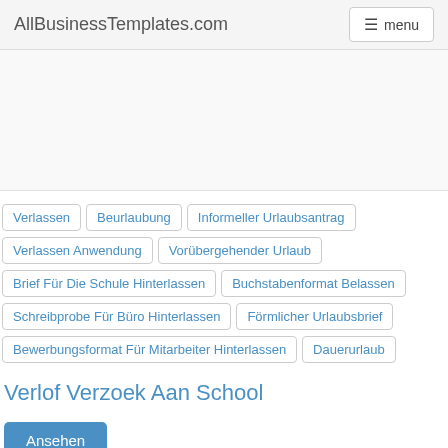AllBusinessTemplates.com  menu
Verlassen
Beurlaubung
Informeller Urlaubsantrag
Verlassen Anwendung
Vorübergehender Urlaub
Brief Für Die Schule Hinterlassen
Buchstabenformat Belassen
Schreibprobe Für Büro Hinterlassen
Förmlicher Urlaubsbrief
Bewerbungsformat Für Mitarbeiter Hinterlassen
Dauerurlaub
Verlof Verzoek Aan School
Ansehen